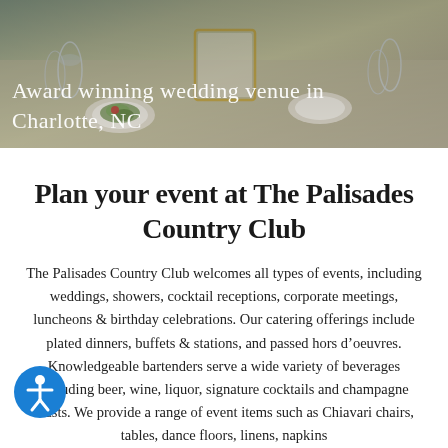[Figure (photo): Hero banner photo of a wedding venue table setting with glasses, plates, salads and table decorations, with text overlay reading 'Award winning wedding venue in Charlotte, NC']
Plan your event at The Palisades Country Club
The Palisades Country Club welcomes all types of events, including weddings, showers, cocktail receptions, corporate meetings, luncheons & birthday celebrations. Our catering offerings include plated dinners, buffets & stations, and passed hors d'oeuvres. Knowledgeable bartenders serve a wide variety of beverages including beer, wine, liquor, signature cocktails and champagne toasts. We provide a range of event items such as Chiavari chairs, tables, dance floors, linens, napkins